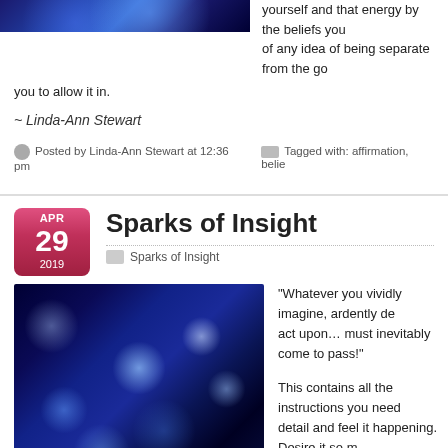[Figure (photo): Blue space/sparkle background image cropped at top]
yourself and that energy by the beliefs you... of any idea of being separate from the go... you to allow it in.
~ Linda-Ann Stewart
Posted by Linda-Ann Stewart at 12:36 pm   Tagged with: affirmation, belie...
Sparks of Insight
Sparks of Insight
[Figure (photo): Blue glitter/sparkle space background image]
"Whatever you vividly imagine, ardently de... act upon… must inevitably come to pass!"
This contains all the instructions you need... detail and feel it happening. Desire it so m... need to. Believe that you can have it and t...